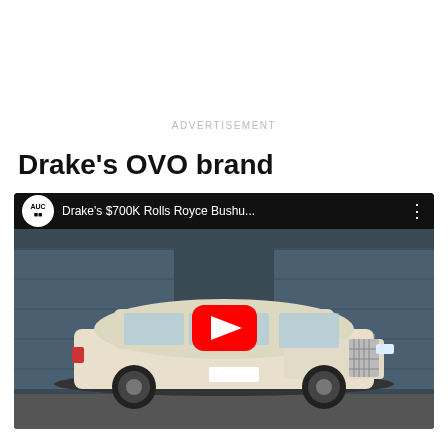ADVERTISEMENT
Drake's OVO brand
[Figure (screenshot): YouTube video thumbnail showing Drake's $700K Rolls Royce Bushu... with a red play button overlay. The video is from the AUC channel. The thumbnail shows a white/cream Rolls Royce Phantom parked in front of blue shipping containers.]